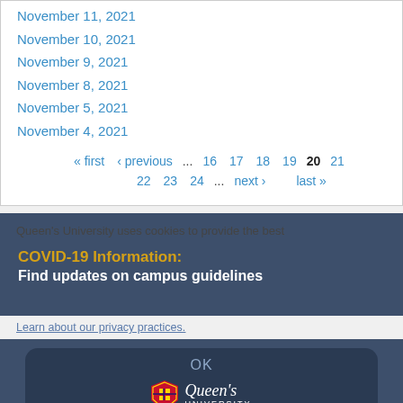November 11, 2021
November 10, 2021
November 9, 2021
November 8, 2021
November 5, 2021
November 4, 2021
« first  ‹ previous  ...  16  17  18  19  20  21  22  23  24  ...  next ›  last »
COVID-19 Information:
Find updates on campus guidelines
Queen's University uses cookies to provide the best
Learn about our privacy practices.
OK
[Figure (logo): Queen's University shield logo with wordmark]
COMMUNICATIONS